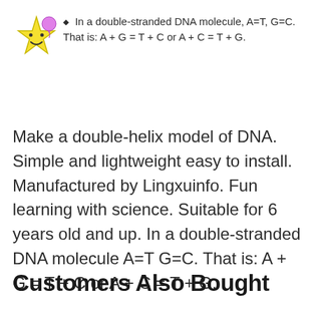In a double-stranded DNA molecule, A=T, G=C. That is: A + G = T + C or A + C = T + G.
Make a double-helix model of DNA. Simple and lightweight easy to install. Manufactured by Lingxuinfo. Fun learning with science. Suitable for 6 years old and up. In a double-stranded DNA molecule A=T G=C. That is: A + G = T + C or A + C = T + G.
Customers Also Bought